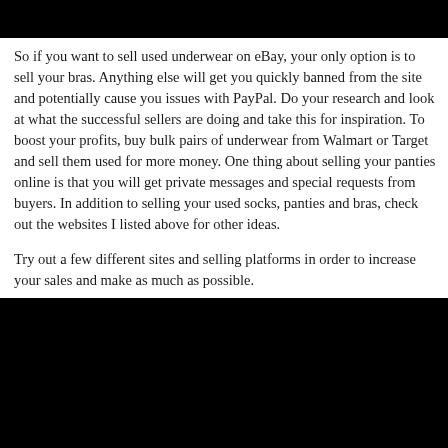So if you want to sell used underwear on eBay, your only option is to sell your bras. Anything else will get you quickly banned from the site and potentially cause you issues with PayPal. Do your research and look at what the successful sellers are doing and take this for inspiration. To boost your profits, buy bulk pairs of underwear from Walmart or Target and sell them used for more money. One thing about selling your panties online is that you will get private messages and special requests from buyers. In addition to selling your used socks, panties and bras, check out the websites I listed above for other ideas.
Try out a few different sites and selling platforms in order to increase your sales and make as much as possible.